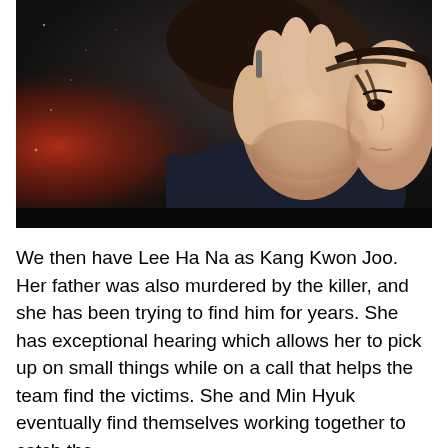[Figure (photo): A young Asian woman holding her hand up near her face/ear, with dark hair pulled back, wearing dark clothing. The scene is dramatically lit with dark background and reddish tones on the left side. A dark bar appears at the bottom of the image.]
We then have Lee Ha Na as Kang Kwon Joo. Her father was also murdered by the killer, and she has been trying to find him for years. She has exceptional hearing which allows her to pick up on small things while on a call that helps the team find the victims. She and Min Hyuk eventually find themselves working together to catch the